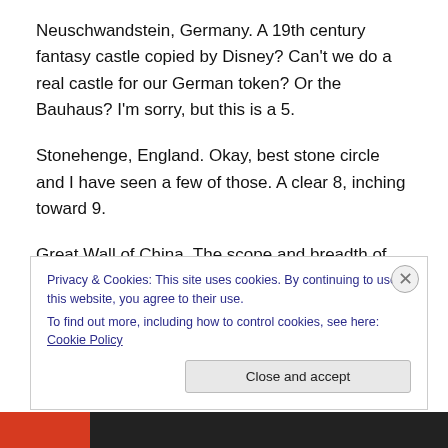Neuschwandstein, Germany. A 19th century fantasy castle copied by Disney? Can't we do a real castle for our German token? Or the Bauhaus? I'm sorry, but this is a 5.
Stonehenge, England. Okay, best stone circle and I have seen a few of those. A clear 8, inching toward 9.
Great Wall of China. The scope and breadth of 4000 years of construction history for a wall that never worked is impossible to ignore. Kafka wrote about it. The myth about seeing it from space underscores its importance – and the need to see it from a great distance. I say it's in – 9
Privacy & Cookies: This site uses cookies. By continuing to use this website, you agree to their use.
To find out more, including how to control cookies, see here: Cookie Policy